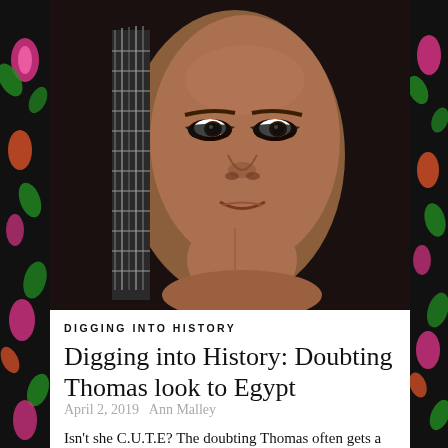[Figure (photo): Ancient Egyptian artifact — a painted wooden coffin mask or sculpture depicting a woman with dark kohl-lined eyes, reddish-brown skin, and beaded braided hair. The image is partly cropped, showing the face and upper torso against a dark background.]
DIGGING INTO HISTORY
Digging into History: Doubting Thomas look to Egypt
April 2, 2019   Ann Malley
Isn't she C.U.T.E? The doubting Thomas often gets a bad rap. And curious cats can end up in a BAD way. (Dead.